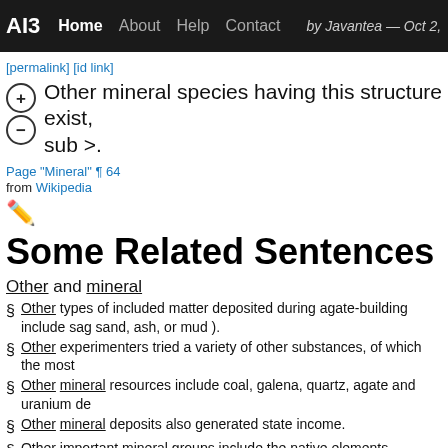AI3 | Home | About | Help | Contact | by Javantea — Oct 2,
[permalink] [id link]
Other mineral species having this structure exist, sub >.
Page "Mineral" ¶ 64
from Wikipedia
Some Related Sentences
Other and mineral
§ Other types of included matter deposited during agate-building include sag sand, ash, or mud ).
§ Other experimenters tried a variety of other substances, of which the most
§ Other mineral resources include coal, galena, quartz, agate and uranium de
§ Other mineral deposits also generated state income.
§ Other important mineral groups include the native elements, sulfides, oxide
§ Other examples of sorosiicates include lawsonite, a metamorphic mineral f
pressure ), vesuvianite, which takes up a significant amount of calcium in its